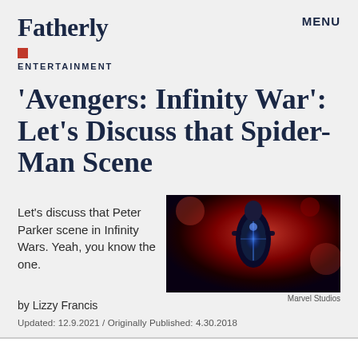Fatherly
MENU
ENTERTAINMENT
'Avengers: Infinity War': Let's Discuss that Spider-Man Scene
Let's discuss that Peter Parker scene in Infinity Wars. Yeah, you know the one.
by Lizzy Francis
Updated: 12.9.2021 / Originally Published: 4.30.2018
[Figure (photo): A figure in a glowing suit against a red background, from Avengers: Infinity War. Credit: Marvel Studios.]
Marvel Studios
vengers: Infinity War, the most ambitious